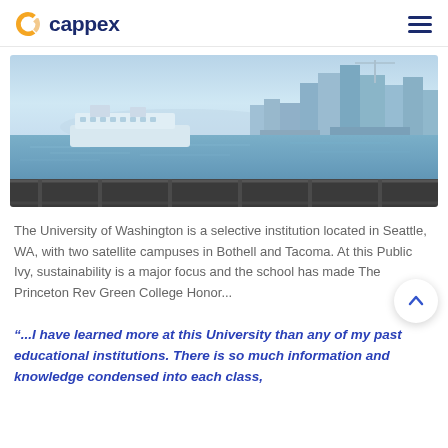cappex
[Figure (photo): Panoramic view of Seattle waterfront with ferry boat on blue water and city skyline with buildings in background under clear sky]
The University of Washington is a selective institution located in Seattle, WA, with two satellite campuses in Bothell and Tacoma. At this Public Ivy, sustainability is a major focus and the school has made The Princeton Rev Green College Honor...
“...I have learned more at this University than any of my past educational institutions. There is so much information and knowledge condensed into each class,